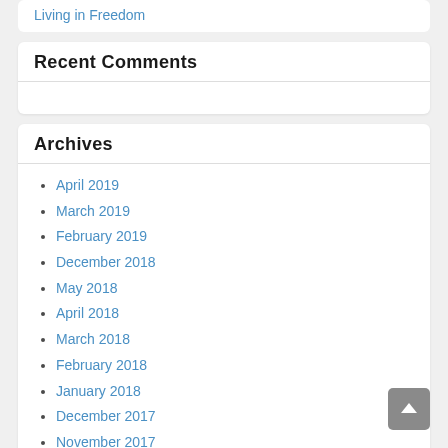Living in Freedom
Recent Comments
Archives
April 2019
March 2019
February 2019
December 2018
May 2018
April 2018
March 2018
February 2018
January 2018
December 2017
November 2017
October 2017
September 2017